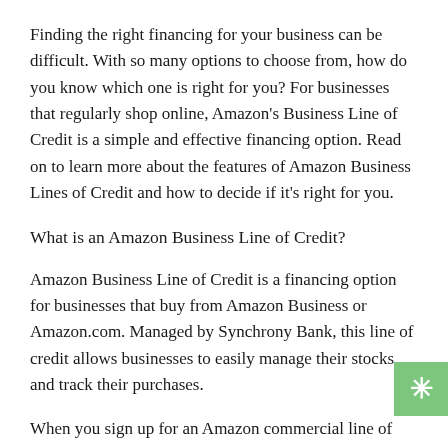Finding the right financing for your business can be difficult. With so many options to choose from, how do you know which one is right for you? For businesses that regularly shop online, Amazon's Business Line of Credit is a simple and effective financing option. Read on to learn more about the features of Amazon Business Lines of Credit and how to decide if it's right for you.
What is an Amazon Business Line of Credit?
Amazon Business Line of Credit is a financing option for businesses that buy from Amazon Business or Amazon.com. Managed by Synchrony Bank, this line of credit allows businesses to easily manage their stocks and track their purchases.
When you sign up for an Amazon commercial line of credit, you have a dedicated account management team to help you set up, customize, and manage your line of credit. Businesses that